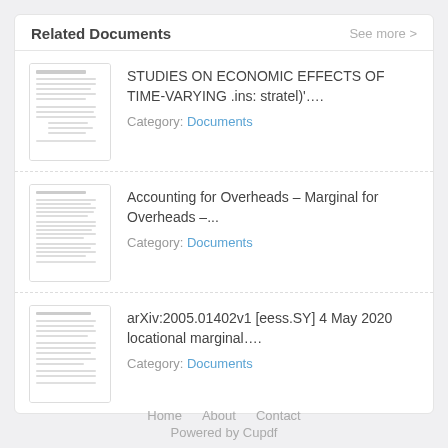Related Documents
See more >
[Figure (screenshot): Thumbnail of document page with text]
STUDIES ON ECONOMIC EFFECTS OF TIME-VARYING .ins: stratel)'....
Category: Documents
[Figure (screenshot): Thumbnail of document page with text lines]
Accounting for Overheads - Marginal for Overheads -...
Category: Documents
[Figure (screenshot): Thumbnail of document page with text]
arXiv:2005.01402v1 [eess.SY] 4 May 2020 locational marginal....
Category: Documents
Home   About   Contact
Powered by Cupdf